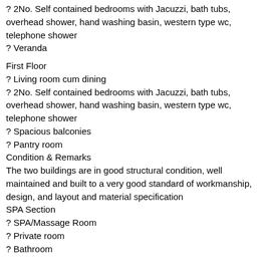? 2No. Self contained bedrooms with Jacuzzi, bath tubs, overhead shower, hand washing basin, western type wc, telephone shower
? Veranda
First Floor
? Living room cum dining
? 2No. Self contained bedrooms with Jacuzzi, bath tubs, overhead shower, hand washing basin, western type wc, telephone shower
? Spacious balconies
? Pantry room
Condition & Remarks
The two buildings are in good structural condition, well maintained and built to a very good standard of workmanship, design, and layout and material specification
SPA Section
? SPA/Massage Room
? Private room
? Bathroom